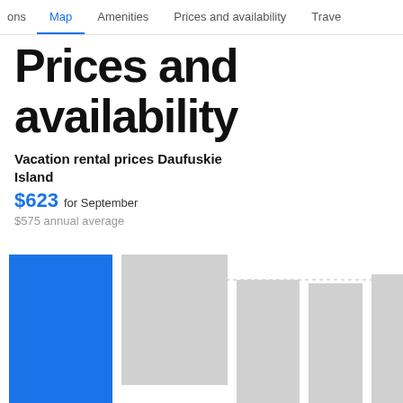ons   Map   Amenities   Prices and availability   Trave
Prices and availability
Vacation rental prices Daufuskie Island
$623 for September
$575 annual average
[Figure (bar-chart): Monthly vacation rental prices Daufuskie Island]